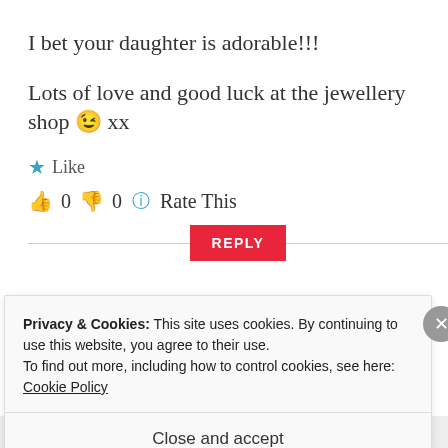I bet your daughter is adorable!!!
Lots of love and good luck at the jewellery shop 😉 xx
★ Like
👍 0 👎 0 ℹ Rate This
REPLY
Privacy & Cookies: This site uses cookies. By continuing to use this website, you agree to their use.
To find out more, including how to control cookies, see here: Cookie Policy
Close and accept